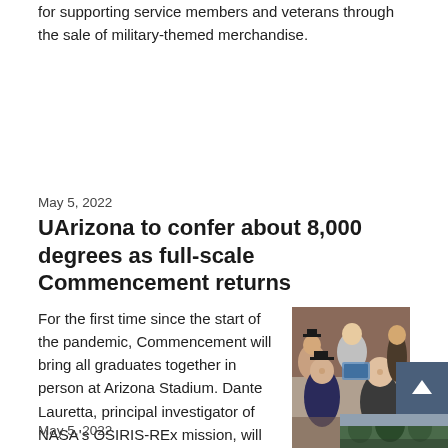for supporting service members and veterans through the sale of military-themed merchandise.
May 5, 2022
UArizona to confer about 8,000 degrees as full-scale Commencement returns
[Figure (photo): Group selfie photo of graduates and family members at commencement, wearing graduation caps and gowns]
For the first time since the start of the pandemic, Commencement will bring all graduates together in person at Arizona Stadium. Dante Lauretta, principal investigator of NASA's OSIRIS-REx mission, will deliver the keynote address.
May 5, 2022
[Figure (photo): Partial photo visible at bottom right of page, appears to show outdoor scene with trees]